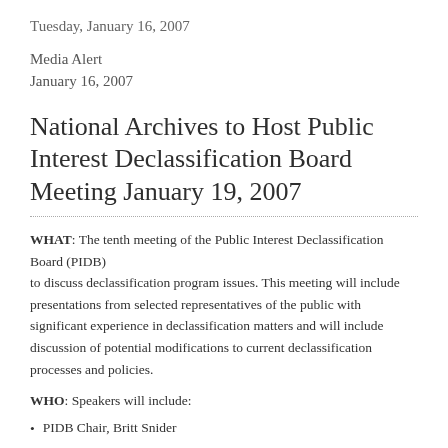Tuesday, January 16, 2007
Media Alert
January 16, 2007
National Archives to Host Public Interest Declassification Board Meeting January 19, 2007
WHAT: The tenth meeting of the Public Interest Declassification Board (PIDB) to discuss declassification program issues. This meeting will include presentations from selected representatives of the public with significant experience in declassification matters and will include discussion of potential modifications to current declassification processes and policies.
WHO: Speakers will include:
PIDB Chair, Britt Snider